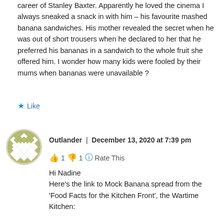career of Stanley Baxter. Apparently he loved the cinema I always sneaked a snack in with him – his favourite mashed banana sandwiches. His mother revealed the secret when he was out of short trousers when he declared to her that he preferred his bananas in a sandwich to the whole fruit she offered him. I wonder how many kids were fooled by their mums when bananas were unavailable ?
★ Like
[Figure (illustration): Circular avatar with a geometric diamond/lattice pattern in olive green and white]
Outlander | December 13, 2020 at 7:39 pm
👍 1 👎 1 ℹ Rate This
Hi Nadine
Here's the link to Mock Banana spread from the 'Food Facts for the Kitchen Front', the Wartime Kitchen: